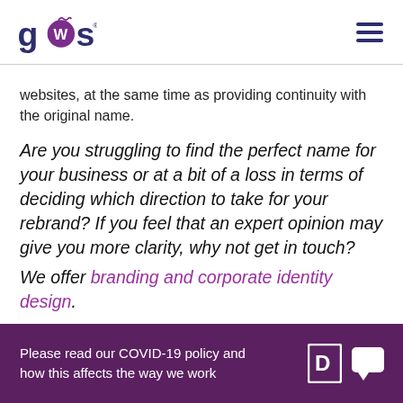GWS logo and navigation menu
websites, at the same time as providing continuity with the original name.
Are you struggling to find the perfect name for your business or at a bit of a loss in terms of deciding which direction to take for your rebrand? If you feel that an expert opinion may give you more clarity, why not get in touch?
We offer branding and corporate identity design.
Please read our COVID-19 policy and how this affects the way we work